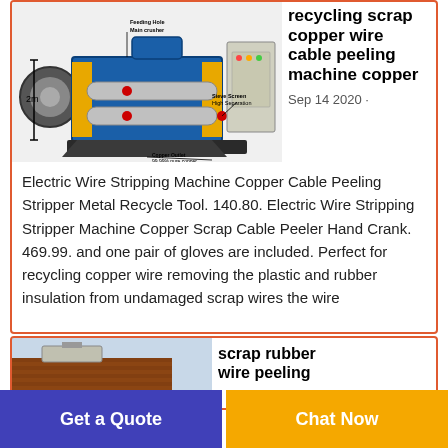[Figure (photo): Industrial scrap copper wire cable recycling/peeling machine (blue and yellow), with labeled parts: Feeding Hole/Main crusher, Copper Outlet 99.99% pure copper, Sieve Screen High Separation, measurement of 2m shown on left side.]
recycling scrap copper wire cable peeling machine copper
Sep 14 2020 ·
Electric Wire Stripping Machine Copper Cable Peeling Stripper Metal Recycle Tool. 140.80. Electric Wire Stripping Stripper Machine Copper Scrap Cable Peeler Hand Crank. 469.99. and one pair of gloves are included. Perfect for recycling copper wire removing the plastic and rubber insulation from undamaged scrap wires the wire
[Figure (photo): Photo of a building exterior (brick wall, industrial setting) associated with scrap rubber wire peeling product.]
scrap rubber wire peeling
Get a Quote
Chat Now